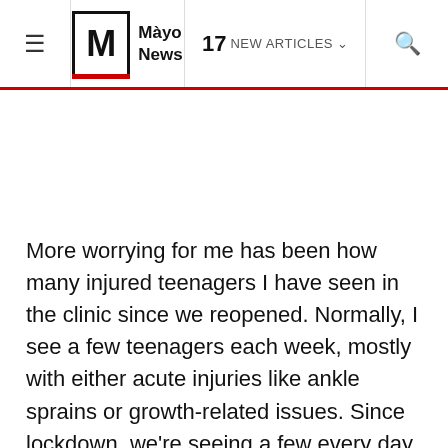≡  Mayo News  17 NEW ARTICLES ∨  🔍
[Figure (other): Blank white advertisement or image area below navigation header]
More worrying for me has been how many injured teenagers I have seen in the clinic since we reopened. Normally, I see a few teenagers each week, mostly with either acute injuries like ankle sprains or growth-related issues. Since lockdown, we're seeing a few every day. 'What's wrong with these flamin' kids, Ailsa?'.